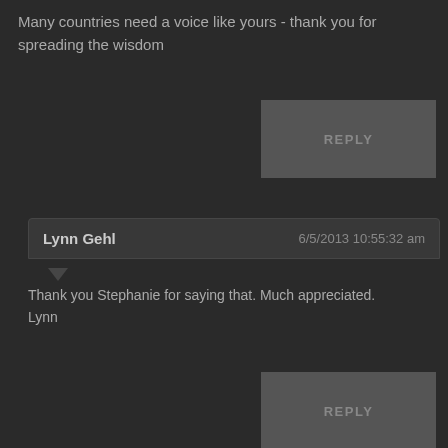Many countries need a voice like yours - thank you for spreading the wisdom
REPLY
Lynn Gehl   6/5/2013 10:55:32 am
Thank you Stephanie for saying that. Much appreciated. Lynn
REPLY
Rene Ariens   5/4/2015 12:13:45 pm
All this to boil water for running steam turbines to generate electricity. There are alternatives available that would not harm the planet and not leave behind a 200,000 year requirement to isolate the waste products of this nuclear heat generating process ... isn't this demanding too much from our future